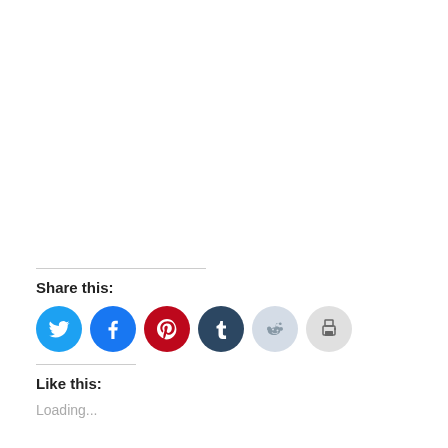Share this:
[Figure (infographic): Row of six circular social sharing icons: Twitter (light blue), Facebook (blue), Pinterest (red), Tumblr (dark navy), Reddit (light blue-grey), Print (light grey)]
Like this:
Loading...